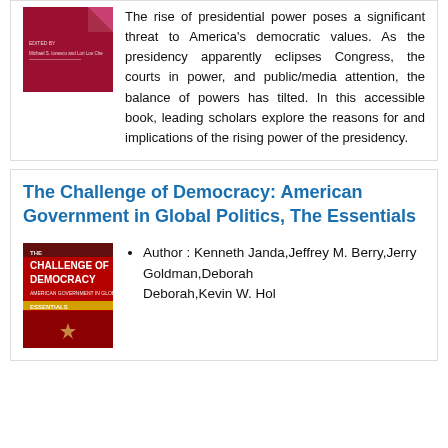[Figure (illustration): Book cover with red/maroon background and small text]
The rise of presidential power poses a significant threat to America's democratic values. As the presidency apparently eclipses Congress, the courts in power, and public/media attention, the balance of powers has tilted. In this accessible book, leading scholars explore the reasons for and implications of the rising power of the presidency.
The Challenge of Democracy: American Government in Global Politics, The Essentials
[Figure (illustration): Book cover: The Challenge of Democracy, American Government in Global Politics, red background with yellow stripe]
Author : Kenneth Janda,Jeffrey M. Berry,Jerry Goldman,Deborah Deborah,Kevin W. Hol...